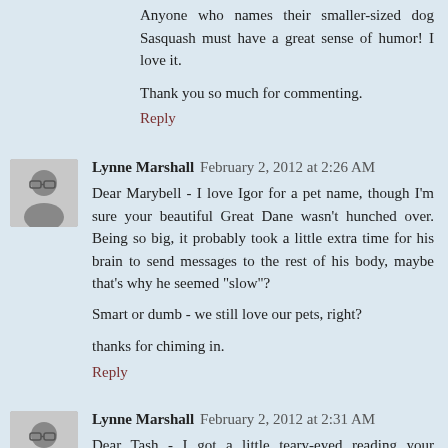Anyone who names their smaller-sized dog Sasquash must have a great sense of humor! I love it.
Thank you so much for commenting.
Reply
Lynne Marshall  February 2, 2012 at 2:26 AM
Dear Marybell - I love Igor for a pet name, though I'm sure your beautiful Great Dane wasn't hunched over. Being so big, it probably took a little extra time for his brain to send messages to the rest of his body, maybe that's why he seemed "slow"?
Smart or dumb - we still love our pets, right?
thanks for chiming in.
Reply
Lynne Marshall  February 2, 2012 at 2:31 AM
Dear Tash - I got a little teary-eyed reading your comment.